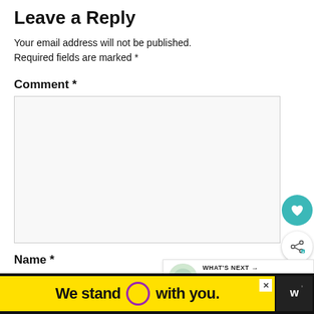Leave a Reply
Your email address will not be published. Required fields are marked *
Comment *
[Figure (screenshot): Empty comment text area input box]
Name *
[Figure (screenshot): Teal circular heart/favourite button floating on right side]
[Figure (screenshot): White circular share button floating on right side]
[Figure (screenshot): What's Next widget showing Summer concert... with circular image]
[Figure (screenshot): Bottom advertisement bar: yellow background with text 'We stand O with you.' with purple circle, close button X, and dark logo 'w']